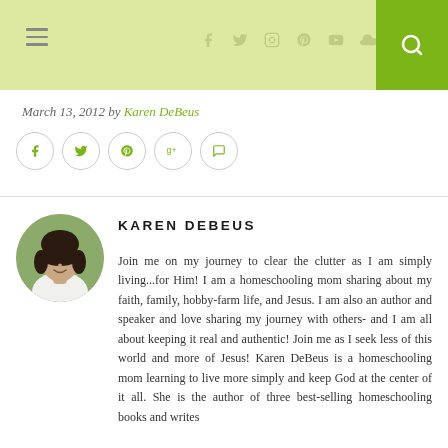≡  [social icons: facebook, twitter, instagram, pinterest, youtube, soundcloud]  [search]
March 13, 2012 by Karen DeBeus
[Figure (infographic): Social sharing buttons: facebook, twitter, pinterest, google+, comments]
[Figure (photo): Circular portrait photo of Karen DeBeus, a woman with dark hair]
KAREN DEBEUS
Join me on my journey to clear the clutter as I am simply living...for Him! I am a homeschooling mom sharing about my faith, family, hobby-farm life, and Jesus. I am also an author and speaker and love sharing my journey with others- and I am all about keeping it real and authentic! Join me as I seek less of this world and more of Jesus! Karen DeBeus is a homeschooling mom learning to live more simply and keep God at the center of it all. She is the author of three best-selling homeschooling books and writes